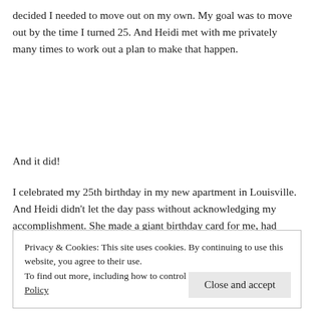decided I needed to move out on my own. My goal was to move out by the time I turned 25. And Heidi met with me privately many times to work out a plan to make that happen.
And it did!
I celebrated my 25th birthday in my new apartment in Louisville. And Heidi didn't let the day pass without acknowledging my accomplishment. She made a giant birthday card for me, had people
Privacy & Cookies: This site uses cookies. By continuing to use this website, you agree to their use.
To find out more, including how to control cookies, see here: Cookie Policy
Close and accept